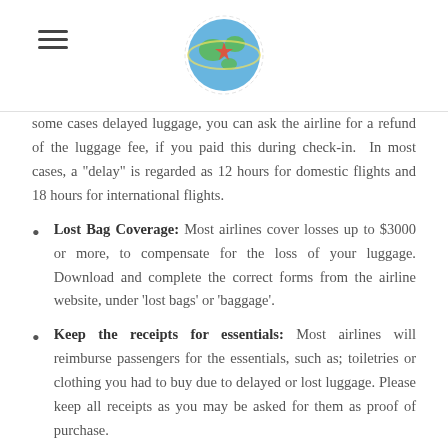[Travel Diaries logo and navigation]
some cases delayed luggage, you can ask the airline for a refund of the luggage fee, if you paid this during check-in. In most cases, a "delay" is regarded as 12 hours for domestic flights and 18 hours for international flights.
Lost Bag Coverage: Most airlines cover losses up to $3000 or more, to compensate for the loss of your luggage. Download and complete the correct forms from the airline website, under 'lost bags' or 'baggage'.
Keep the receipts for essentials: Most airlines will reimburse passengers for the essentials, such as; toiletries or clothing you had to buy due to delayed or lost luggage. Please keep all receipts as you may be asked for them as proof of purchase.